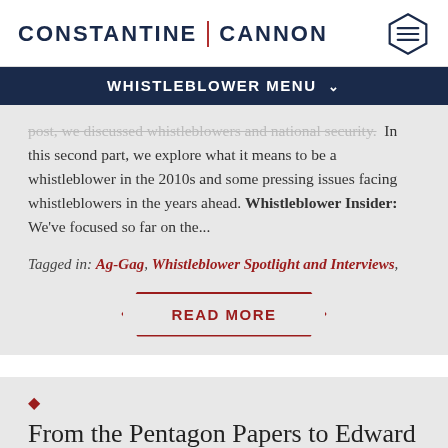CONSTANTINE | CANNON
WHISTLEBLOWER MENU
post, we discussed whistleblowers and national security. In this second part, we explore what it means to be a whistleblower in the 2010s and some pressing issues facing whistleblowers in the years ahead. Whistleblower Insider: We've focused so far on the...
Tagged in: Ag-Gag, Whistleblower Spotlight and Interviews,
READ MORE
♦
From the Pentagon Papers to Edward